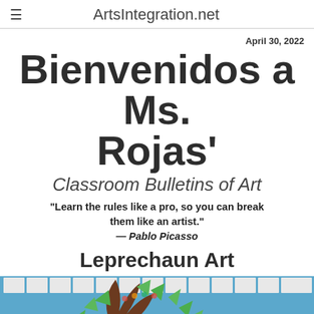≡  ArtsIntegration.net
April 30, 2022
Bienvenidos a Ms. Rojas'
Classroom Bulletins of Art
"Learn the rules like a pro, so you can break them like an artist." — Pablo Picasso
Leprechaun Art
[Figure (photo): Classroom bulletin board with a large brown tree sculpture, green paper leaves, and student artwork displayed on a blue background. St. Patrick's Day themed decorations including shamrocks and leprechaun-related items are visible.]